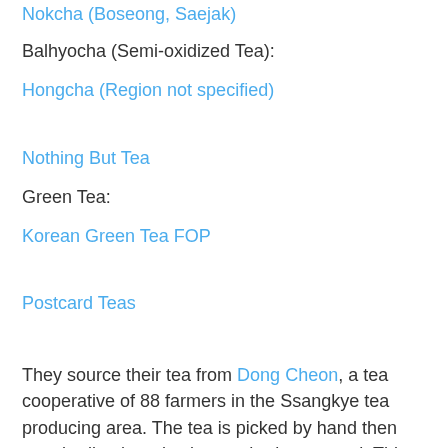Nokcha (Boseong, Saejak)
Balhyocha (Semi-oxidized Tea):
Hongcha (Region not specified)
Nothing But Tea
Green Tea:
Korean Green Tea FOP
Postcard Teas
They source their tea from Dong Cheon, a tea cooperative of 88 farmers in the Ssangkye tea producing area. The tea is picked by hand then standardized production methods are used. This green tea is true semi-wild tea produced using machine production and the jeung cha method. Dong Cheon